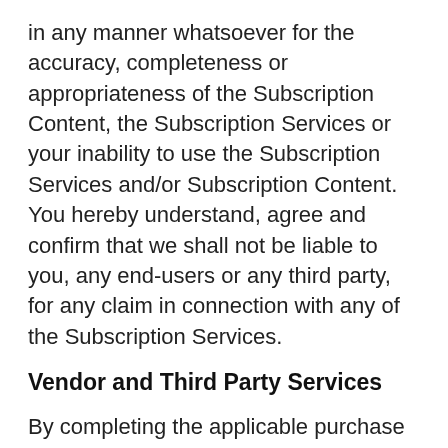in any manner whatsoever for the accuracy, completeness or appropriateness of the Subscription Content, the Subscription Services or your inability to use the Subscription Services and/or Subscription Content. You hereby understand, agree and confirm that we shall not be liable to you, any end-users or any third party, for any claim in connection with any of the Subscription Services.
Vendor and Third Party Services
By completing the applicable purchase order forms you can obtain, or attempt to obtain, certain products and/or services from the Website. The products and/or services featured on the Website may contain descriptions that are provided directly by the Third Party Provider manufacturers or distributors of such